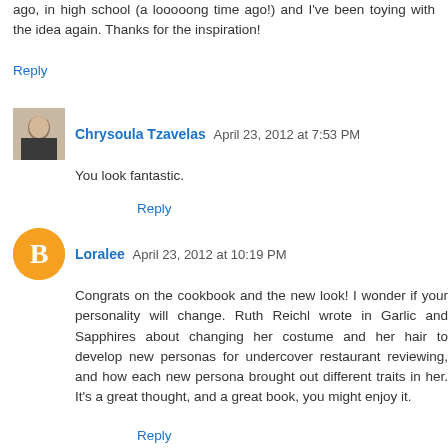ago, in high school (a looooong time ago!) and I've been toying with the idea again. Thanks for the inspiration!
Reply
Chrysoula Tzavelas  April 23, 2012 at 7:53 PM
You look fantastic.
Reply
Loralee  April 23, 2012 at 10:19 PM
Congrats on the cookbook and the new look! I wonder if your personality will change. Ruth Reichl wrote in Garlic and Sapphires about changing her costume and her hair to develop new personas for undercover restaurant reviewing, and how each new persona brought out different traits in her. It's a great thought, and a great book, you might enjoy it.
Reply